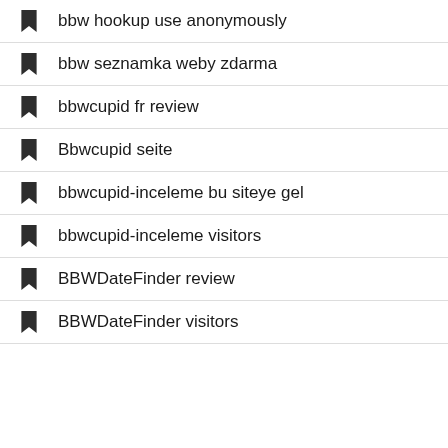bbw hookup use anonymously
bbw seznamka weby zdarma
bbwcupid fr review
Bbwcupid seite
bbwcupid-inceleme bu siteye gel
bbwcupid-inceleme visitors
BBWDateFinder review
BBWDateFinder visitors